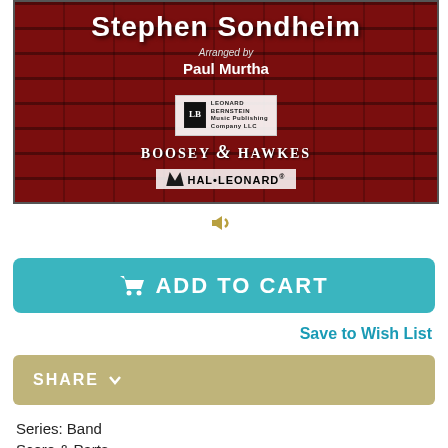[Figure (illustration): Book cover for Stephen Sondheim band music arranged by Paul Murtha, showing red brick background with Leonard Bernstein Music Publishing, Boosey & Hawkes, and Hal Leonard logos]
[Figure (other): Speaker/audio icon]
ADD TO CART
Save to Wish List
SHARE
Series: Band
Score & Parts